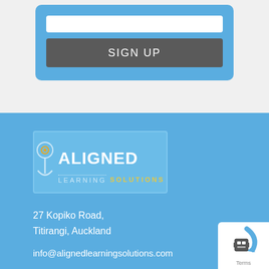[Figure (screenshot): Blue card with an input field and a SIGN UP button on a light grey background]
[Figure (logo): Aligned Learning Solutions logo — silhouette figure with '9' shape, text ALIGNED above LEARNING SOLUTIONS on blue background]
27 Kopiko Road,
Titirangi, Auckland
info@alignedlearningsolutions.com
[Figure (screenshot): Small corner widget with icon and 'Terms' text]